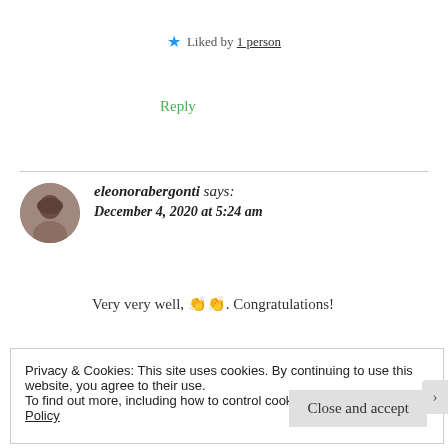★ Liked by 1 person
Reply
eleonorabergonti says: December 4, 2020 at 5:24 am
Very very well, 👏👏. Congratulations!
Privacy & Cookies: This site uses cookies. By continuing to use this website, you agree to their use.
To find out more, including how to control cookies, see here: Cookie Policy
Close and accept